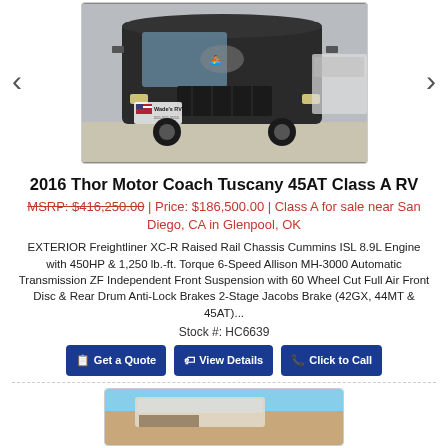[Figure (photo): Front view of a dark-colored 2016 Thor Motor Coach Tuscany 45AT Class A RV in a dealer lot, with a Wade's RV flag/badge visible.]
2016 Thor Motor Coach Tuscany 45AT Class A RV
MSRP: $416,250.00 | Price: $186,500.00 | Class A for sale near San Diego, CA in Glenpool, OK
EXTERIOR Freightliner XC-R Raised Rail Chassis Cummins ISL 8.9L Engine with 450HP & 1,250 lb.-ft. Torque 6-Speed Allison MH-3000 Automatic Transmission ZF Independent Front Suspension with 60 Wheel Cut Full Air Front Disc & Rear Drum Anti-Lock Brakes 2-Stage Jacobs Brake (42GX, 44MT & 45AT)...
Stock #: HC6639
[Figure (photo): Partial bottom image of another RV listing, showing sky and RV exterior.]